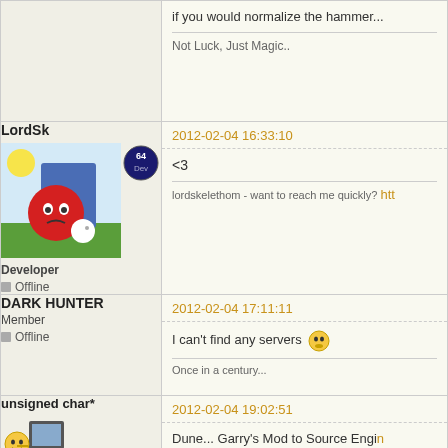If you would normalize the hammer...
Not Luck, Just Magic..
LordSk
Developer
Offline
2012-02-04 16:33:10
<3
lordskelethom - want to reach me quickly? htt
DARK HUNTER
Member
Offline
2012-02-04 17:11:11
I can't find any servers
Once in a century...
unsigned char*
Member
Offline
2012-02-04 19:02:51
Dune... Garry's Mod to Source Engine physiscs... envirioment.. and other s
Conclusion: You are the one that lim